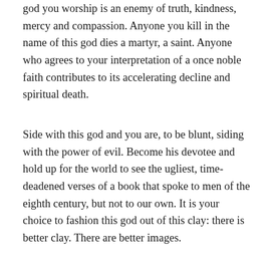god you worship is an enemy of truth, kindness, mercy and compassion. Anyone you kill in the name of this god dies a martyr, a saint. Anyone who agrees to your interpretation of a once noble faith contributes to its accelerating decline and spiritual death.
Side with this god and you are, to be blunt, siding with the power of evil. Become his devotee and hold up for the world to see the ugliest, time-deadened verses of a book that spoke to men of the eighth century, but not to our own. It is your choice to fashion this god out of this clay: there is better clay. There are better images.